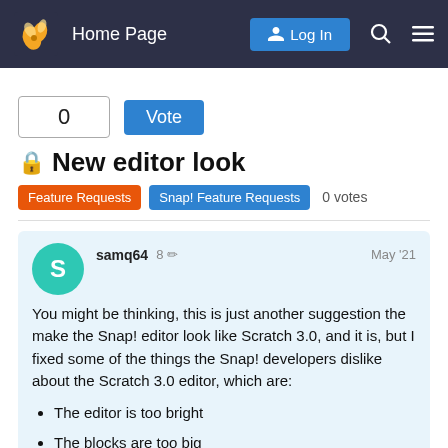Home Page | Log In
0
Vote
🔒 New editor look
Feature Requests   Snap! Feature Requests   0 votes
samq64   8 ✏   May '21
You might be thinking, this is just another suggestion the make the Snap! editor look like Scratch 3.0, and it is, but I fixed some of the things the Snap! developers dislike about the Scratch 3.0 editor, which are:
The editor is too bright
The blocks are too big
The editor is too babyish
1 / 10